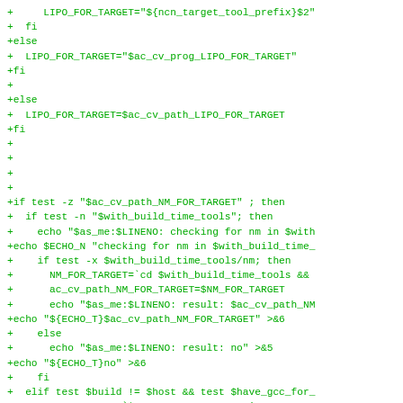[Figure (screenshot): Green monospace code diff showing shell script lines for LIPO_FOR_TARGET and NM_FOR_TARGET configuration, with + prefix indicating added lines.]